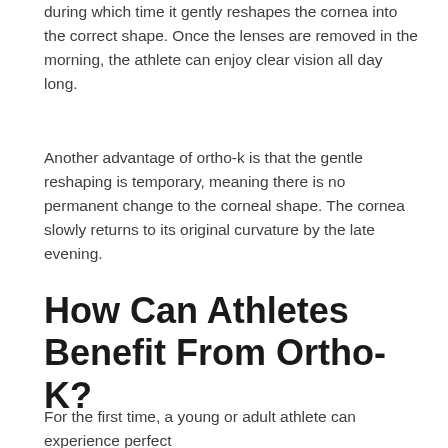during which time it gently reshapes the cornea into the correct shape. Once the lenses are removed in the morning, the athlete can enjoy clear vision all day long.
Another advantage of ortho-k is that the gentle reshaping is temporary, meaning there is no permanent change to the corneal shape. The cornea slowly returns to its original curvature by the late evening.
How Can Athletes Benefit From Ortho-K?
For the first time, a young or adult athlete can experience perfect vision without having to resort to surgery or depending on optical corrections, such as glasses or contact lenses.
Benefits of ortho-k include:
Achieving clear, sharp, and stable vision.
No longer having to worry that glasses or contact lenses will